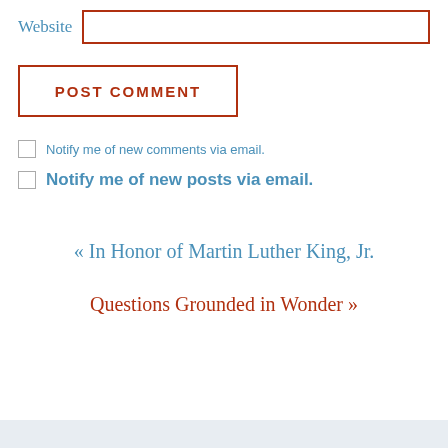Website
POST COMMENT
Notify me of new comments via email.
Notify me of new posts via email.
« In Honor of Martin Luther King, Jr.
Questions Grounded in Wonder »